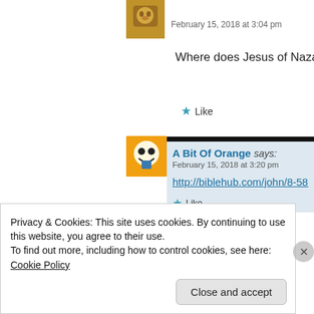[Figure (photo): User avatar - cat-like image in brown tones]
February 15, 2018 at 3:04 pm
Where does Jesus of Nazareth sa
★ Like
[Figure (photo): A Bit Of Orange user avatar - cartoon skull character on orange background]
A Bit Of Orange says:
February 15, 2018 at 3:20 pm
http://biblehub.com/john/8-58.
★ Like
Privacy & Cookies: This site uses cookies. By continuing to use this website, you agree to their use.
To find out more, including how to control cookies, see here: Cookie Policy